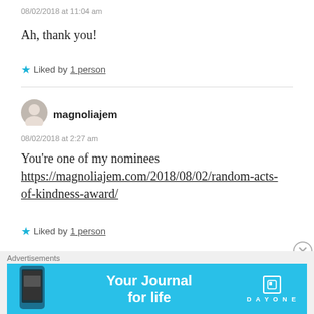08/02/2018 at 11:04 am
Ah, thank you!
★ Liked by 1 person
magnoliajem
08/02/2018 at 2:27 am
You're one of my nominees https://magnoliajem.com/2018/08/02/random-acts-of-kindness-award/
★ Liked by 1 person
Advertisements
[Figure (other): Day One app advertisement banner with text 'Your Journal for life' on a blue background with a phone image and Day One logo]